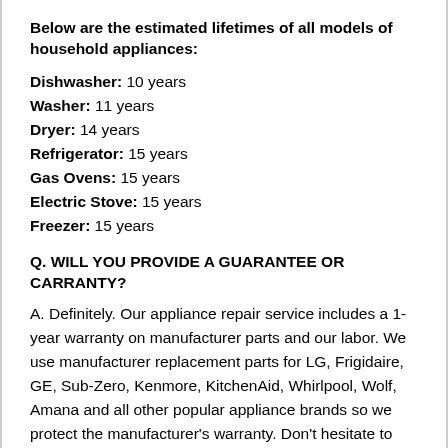Below are the estimated lifetimes of all models of household appliances:
Dishwasher: 10 years
Washer: 11 years
Dryer: 14 years
Refrigerator: 15 years
Gas Ovens: 15 years
Electric Stove: 15 years
Freezer: 15 years
Q. WILL YOU PROVIDE A GUARANTEE OR CARRANTY?
A. Definitely. Our appliance repair service includes a 1-year warranty on manufacturer parts and our labor. We use manufacturer replacement parts for LG, Frigidaire, GE, Sub-Zero, Kenmore, KitchenAid, Whirlpool, Wolf, Amana and all other popular appliance brands so we protect the manufacturer's warranty. Don't hesitate to call